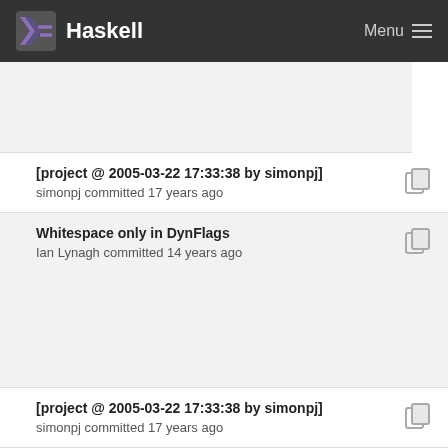Haskell  Menu
[project @ 2005-03-22 17:33:38 by simonpj]
simonpj committed 17 years ago
Whitespace only in DynFlags
Ian Lynagh committed 14 years ago
[project @ 2005-03-22 17:33:38 by simonpj]
simonpj committed 17 years ago
Whitespace only in DynFlags
Ian Lynagh committed 14 years ago